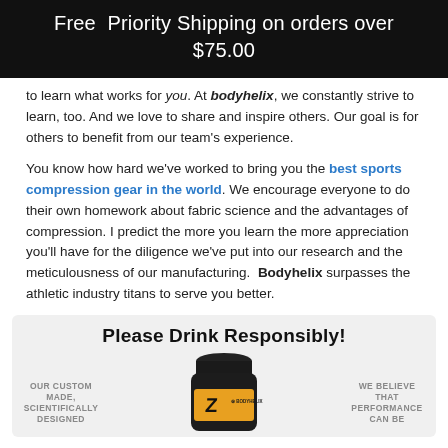Free Priority Shipping on orders over $75.00
to learn what works for you. At bodyhelix, we constantly strive to learn, too. And we love to share and inspire others. Our goal is for others to benefit from our team's experience.
You know how hard we've worked to bring you the best sports compression gear in the world. We encourage everyone to do their own homework about fabric science and the advantages of compression. I predict the more you learn the more appreciation you'll have for the diligence we've put into our research and the meticulousness of our manufacturing. Bodyhelix surpasses the athletic industry titans to serve you better.
[Figure (infographic): Please Drink Responsibly! promotional box with product bottle image, left column 'Our custom made, scientifically designed...' and right column 'We believe that performance can be...']